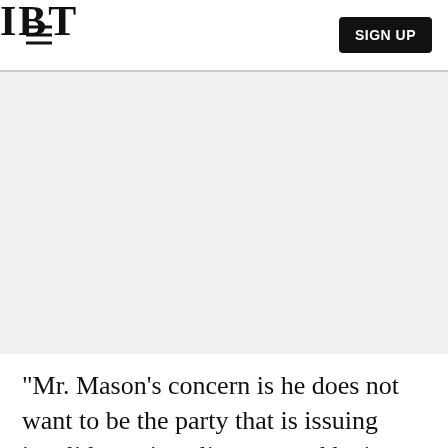IBT | SIGN UP
[Figure (other): Advertisement / placeholder gray area]
"Mr. Mason's concern is he does not want to be the party that is issuing invalid marriage licenses and he is trying to follow the court's mandate as well as